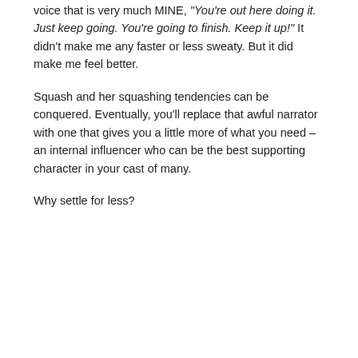voice that is very much MINE, "You're out here doing it. Just keep going. You're going to finish. Keep it up!" It didn't make me any faster or less sweaty. But it did make me feel better.
Squash and her squashing tendencies can be conquered. Eventually, you'll replace that awful narrator with one that gives you a little more of what you need – an internal influencer who can be the best supporting character in your cast of many.
Why settle for less?